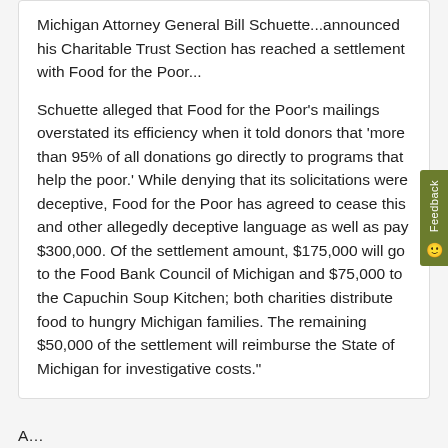Michigan Attorney General Bill Schuette...announced his Charitable Trust Section has reached a settlement with Food for the Poor...
Schuette alleged that Food for the Poor's mailings overstated its efficiency when it told donors that 'more than 95% of all donations go directly to programs that help the poor.' While denying that its solicitations were deceptive, Food for the Poor has agreed to cease this and other allegedly deceptive language as well as pay $300,000. Of the settlement amount, $175,000 will go to the Food Bank Council of Michigan and $75,000 to the Capuchin Soup Kitchen; both charities distribute food to hungry Michigan families. The remaining $50,000 of the settlement will reimburse the State of Michigan for investigative costs."
A... (partially visible at bottom)